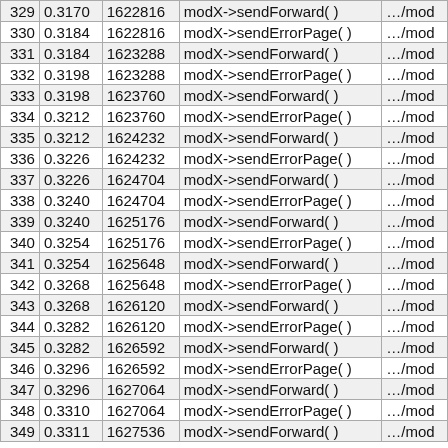| # | time | memory | function | file |
| --- | --- | --- | --- | --- |
| 329 | 0.3170 | 1622816 | modX->sendForward( ) | .../mod |
| 330 | 0.3184 | 1622816 | modX->sendErrorPage( ) | .../mod |
| 331 | 0.3184 | 1623288 | modX->sendForward( ) | .../mod |
| 332 | 0.3198 | 1623288 | modX->sendErrorPage( ) | .../mod |
| 333 | 0.3198 | 1623760 | modX->sendForward( ) | .../mod |
| 334 | 0.3212 | 1623760 | modX->sendErrorPage( ) | .../mod |
| 335 | 0.3212 | 1624232 | modX->sendForward( ) | .../mod |
| 336 | 0.3226 | 1624232 | modX->sendErrorPage( ) | .../mod |
| 337 | 0.3226 | 1624704 | modX->sendForward( ) | .../mod |
| 338 | 0.3240 | 1624704 | modX->sendErrorPage( ) | .../mod |
| 339 | 0.3240 | 1625176 | modX->sendForward( ) | .../mod |
| 340 | 0.3254 | 1625176 | modX->sendErrorPage( ) | .../mod |
| 341 | 0.3254 | 1625648 | modX->sendForward( ) | .../mod |
| 342 | 0.3268 | 1625648 | modX->sendErrorPage( ) | .../mod |
| 343 | 0.3268 | 1626120 | modX->sendForward( ) | .../mod |
| 344 | 0.3282 | 1626120 | modX->sendErrorPage( ) | .../mod |
| 345 | 0.3282 | 1626592 | modX->sendForward( ) | .../mod |
| 346 | 0.3296 | 1626592 | modX->sendErrorPage( ) | .../mod |
| 347 | 0.3296 | 1627064 | modX->sendForward( ) | .../mod |
| 348 | 0.3310 | 1627064 | modX->sendErrorPage( ) | .../mod |
| 349 | 0.3311 | 1627536 | modX->sendForward( ) | .../mod |